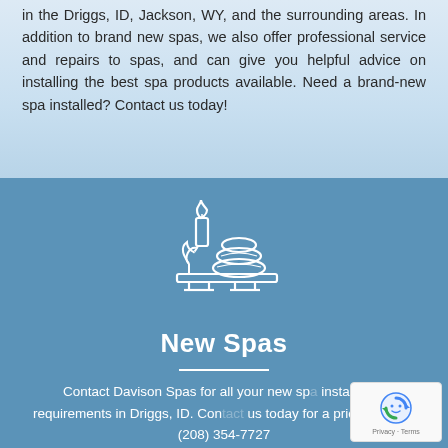in the Driggs, ID, Jackson, WY, and the surrounding areas. In addition to brand new spas, we also offer professional service and repairs to spas, and can give you helpful advice on installing the best spa products available. Need a brand-new spa installed? Contact us today!
[Figure (illustration): White line-art icon of spa items: a lit candle, stacked massage stones, and a plant/flower, on a tray, on a blue background]
New Spas
Contact Davison Spas for all your new spa installation requirements in Driggs, ID. Contact us today for a price quote at (208) 354-7727